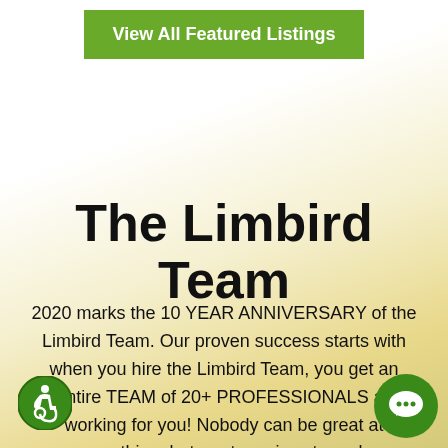View All Featured Listings
The Limbird Team
2020 marks the 10 YEAR ANNIVERSARY of the Limbird Team. Our proven success starts with when you hire the Limbird Team, you get an entire TEAM of 20+ PROFESSIONALS all working for you! Nobody can be great at everything, but our team is extremely SPECIALIZED in the industry. That's why we have listing
[Figure (illustration): Wheelchair accessibility icon — green circle with white wheelchair symbol]
[Figure (illustration): Green chat bubble icon with white speech symbol]